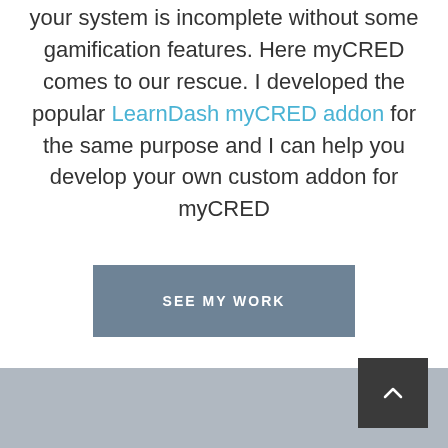your system is incomplete without some gamification features. Here myCRED comes to our rescue. I developed the popular LearnDash myCRED addon for the same purpose and I can help you develop your own custom addon for myCRED
SEE MY WORK
[Figure (other): Back to top button (dark square with upward chevron) in the bottom-right corner over a gray footer bar]